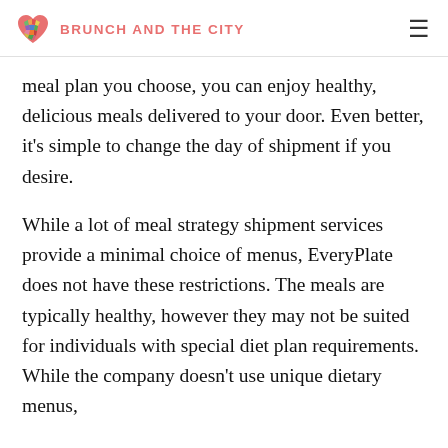BRUNCH AND THE CITY
meal plan you choose, you can enjoy healthy, delicious meals delivered to your door. Even better, it's simple to change the day of shipment if you desire.
While a lot of meal strategy shipment services provide a minimal choice of menus, EveryPlate does not have these restrictions. The meals are typically healthy, however they may not be suited for individuals with special diet plan requirements. While the company doesn't use unique dietary menus,